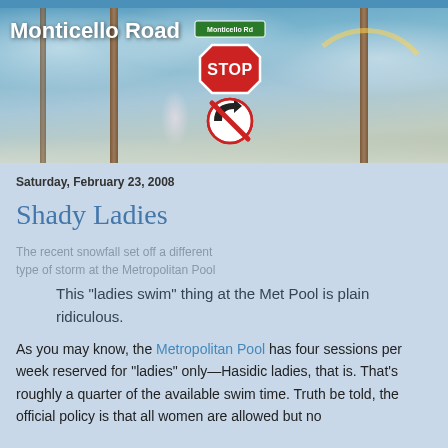[Figure (photo): Header photo of a street intersection with a stop sign, no left turn sign, Monticello Road street sign, utility poles, cloudy sky with rainbow, and blooming trees in winter.]
Monticello Road
Saturday, February 23, 2008
Shady Ladies
The recent snowfall set off a different type of storm at the Metropolitan Pool
This "ladies swim" thing at the Met Pool is plain ridiculous.
As you may know, the Metropolitan Pool has four sessions per week reserved for "ladies" only—Hasidic ladies, that is. That's roughly a quarter of the available swim time. Truth be told, the official policy is that all women are allowed but no